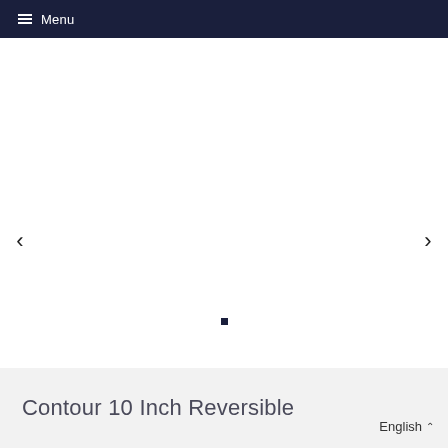≡ Menu
[Figure (photo): Product image slideshow area with left and right navigation arrows and a dot indicator at the bottom center. The main image area is white/blank.]
Contour 10 Inch Reversible
English